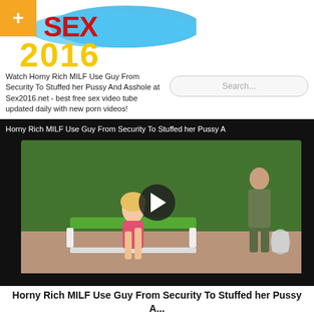[Figure (logo): Sex2016 website logo with orange plus button, red SEX text and yellow 2016 text on blue brushstroke background]
Watch Horny Rich MILF Use Guy From Security To Stuffed her Pussy And Asshole at Sex2016.net - best free sex video tube updated daily with new porn videos!
[Figure (screenshot): Video player showing a scene with a blonde woman on a lounge chair and a man in uniform standing nearby, with a play button overlay]
Horny Rich MILF Use Guy From Security To Stuffed her Pussy A...